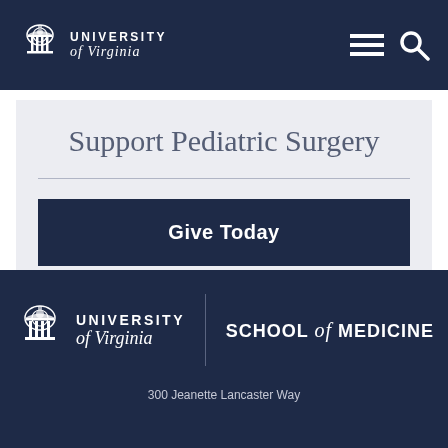University of Virginia
Support Pediatric Surgery
Give Today
University of Virginia | School of Medicine
300 Jeanette Lancaster Way